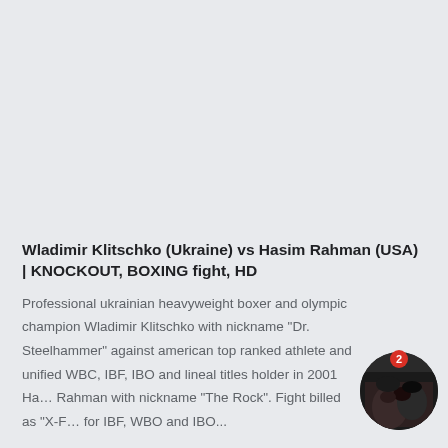Wladimir Klitschko (Ukraine) vs Hasim Rahman (USA) | KNOCKOUT, BOXING fight, HD
Professional ukrainian heavyweight boxer and olympic champion Wladimir Klitschko with nickname "Dr. Steelhammer" against american top ranked athlete and unified WBC, IBF, IBO and lineal titles holder in 2001 Ha… Rahman with nickname "The Rock". Fight billed as "X-F… for IBF, WBO and IBO...
[Figure (photo): Circular thumbnail showing a boxing match photo with a red badge showing the number 2]